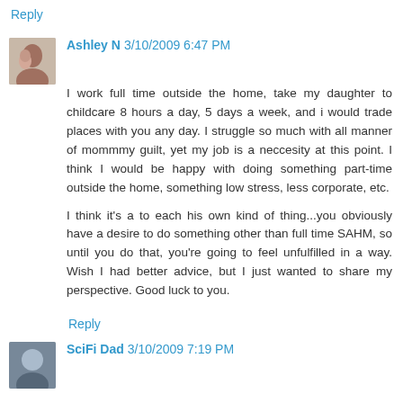Reply
Ashley N 3/10/2009 6:47 PM
I work full time outside the home, take my daughter to childcare 8 hours a day, 5 days a week, and i would trade places with you any day. I struggle so much with all manner of mommmy guilt, yet my job is a neccesity at this point. I think I would be happy with doing something part-time outside the home, something low stress, less corporate, etc.

I think it's a to each his own kind of thing...you obviously have a desire to do something other than full time SAHM, so until you do that, you're going to feel unfulfilled in a way. Wish I had better advice, but I just wanted to share my perspective. Good luck to you.
Reply
SciFi Dad 3/10/2009 7:19 PM